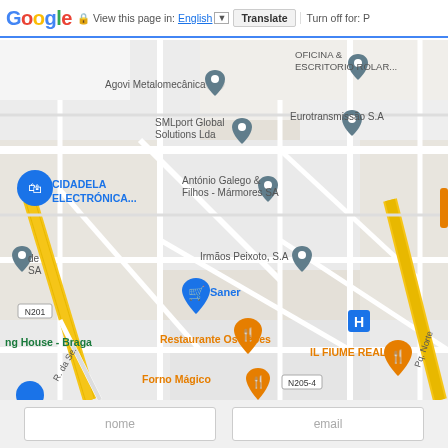Google | View this page in: English | Translate | Turn off for: P
[Figure (map): Google Maps screenshot showing a street map of Braga, Portugal area with business markers including: Agovi Metalomecânica, OFICINA & ESCRITORIO ROLAR, SMLport Global Solutions Lda, Eurotransmissão S.A, CIDADELA ELECTRÓNICA, António Galego & Filhos - Mármores SA, Irmãos Peixoto S.A, Saner, Restaurante Os Leões, IL FIUME REAL, Forno Mágico, ng House - Braga. Roads include N201 and N205-4 with a yellow diagonal road.]
nome
email